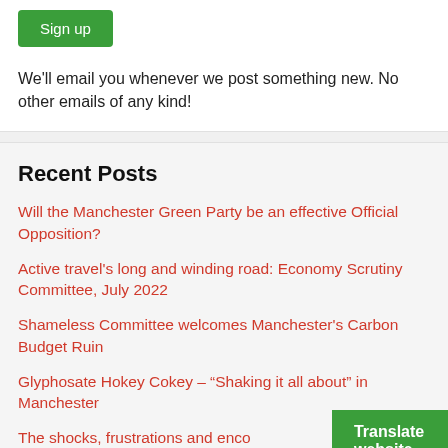[Figure (other): Green 'Sign up' button]
We'll email you whenever we post something new. No other emails of any kind!
Recent Posts
Will the Manchester Green Party be an effective Official Opposition?
Active travel's long and winding road: Economy Scrutiny Committee, July 2022
Shameless Committee welcomes Manchester's Carbon Budget Ruin
Glyphosate Hokey Cokey – “Shaking it all about” in Manchester
The shocks, frustrations and enco...
[Figure (other): Green 'Translate website...' button overlay]